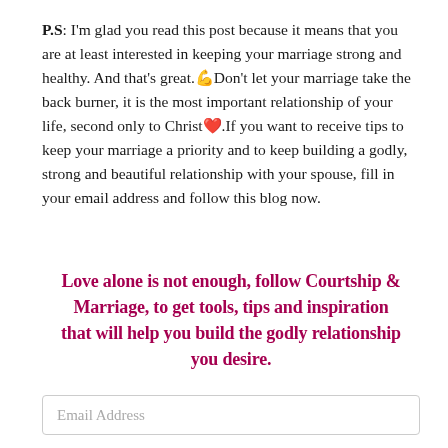P.S: I'm glad you read this post because it means that you are at least interested in keeping your marriage strong and healthy. And that's great.💪Don't let your marriage take the back burner, it is the most important relationship of your life, second only to Christ❤️.If you want to receive tips to keep your marriage a priority and to keep building a godly, strong and beautiful relationship with your spouse, fill in your email address and follow this blog now.
Love alone is not enough, follow Courtship & Marriage, to get tools, tips and inspiration that will help you build the godly relationship you desire.
Email Address